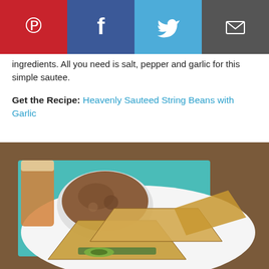[Figure (other): Social sharing buttons bar: Pinterest (red), Facebook (dark blue), Twitter (light blue), Email (dark gray)]
ingredients. All you need is salt, pepper and garlic for this simple sautee.
Get the Recipe: Heavenly Sauteed String Beans with Garlic
[Figure (photo): Photo of quesadilla wedges stacked on a white plate with a bowl of refried bean dip, a teal napkin, and a glass of amber drink in the background on a wooden table.]